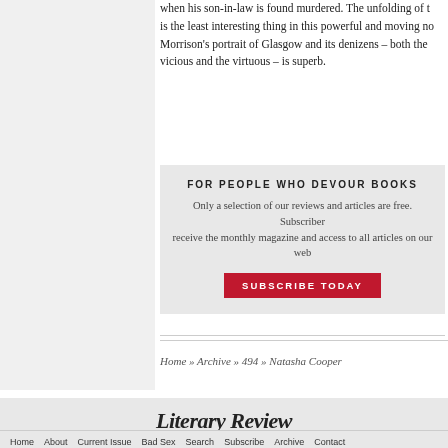when his son-in-law is found murdered. The unfolding of the is the least interesting thing in this powerful and moving no Morrison's portrait of Glasgow and its denizens – both the vicious and the virtuous – is superb.
FOR PEOPLE WHO DEVOUR BOOKS
Only a selection of our reviews and articles are free. Subscriber receive the monthly magazine and access to all articles on our web
SUBSCRIBE TODAY
Home » Archive » 494 » Natasha Cooper
[Figure (logo): Literary Review logo in italic serif font]
Home   About   Current Issue   Bad Sex   Search   Subscribe   Archive   Contact
Privacy Policy   Cookies Policy
Literary Review uses cookies to track usage and preferences
UNDERSTAND   PRIVACY POLICY